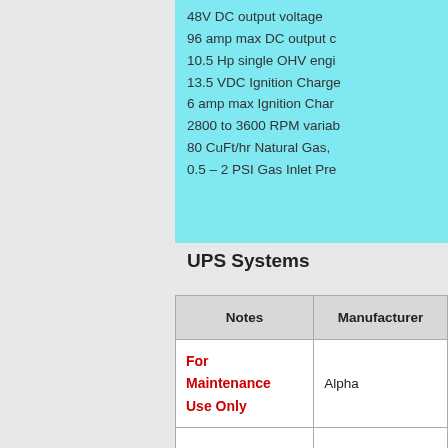48V DC output voltage
96 amp max DC output c...
10.5 Hp single OHV engi...
13.5 VDC Ignition Charge...
6 amp max Ignition Char...
2800 to 3600 RPM variab...
80 CuFt/hr Natural Gas, ...
0.5 – 2 PSI Gas Inlet Pre...
UPS Systems
| Notes | Manufacturer |
| --- | --- |
| For Maintenance Use Only | Alpha |
|  |  |